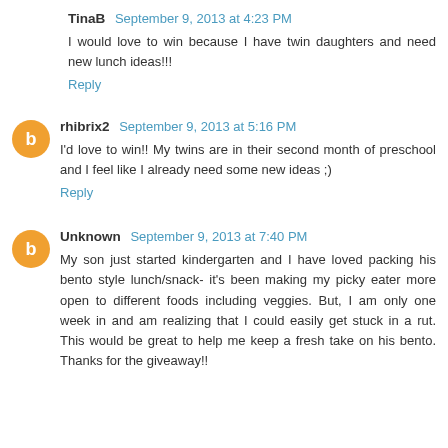TinaB  September 9, 2013 at 4:23 PM
I would love to win because I have twin daughters and need new lunch ideas!!!
Reply
rhibrix2  September 9, 2013 at 5:16 PM
I'd love to win!! My twins are in their second month of preschool and I feel like I already need some new ideas ;)
Reply
Unknown  September 9, 2013 at 7:40 PM
My son just started kindergarten and I have loved packing his bento style lunch/snack- it's been making my picky eater more open to different foods including veggies. But, I am only one week in and am realizing that I could easily get stuck in a rut. This would be great to help me keep a fresh take on his bento. Thanks for the giveaway!!